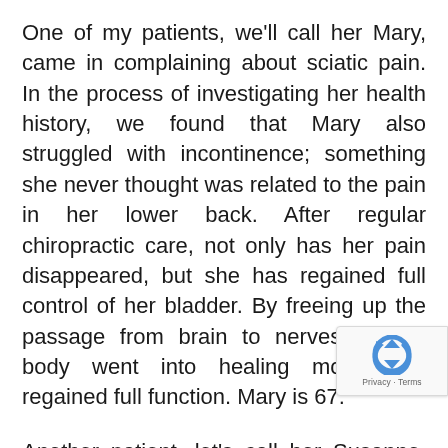One of my patients, we'll call her Mary, came in complaining about sciatic pain. In the process of investigating her health history, we found that Mary also struggled with incontinence; something she never thought was related to the pain in her lower back. After regular chiropractic care, not only has her pain disappeared, but she has regained full control of her bladder. By freeing up the passage from brain to nerves, Mary's body went into healing mode and regained full function. Mary is 67.
Another patient, let's call her Susanne, had been trying to get pregnant for two years by the time she walked through our doors with sciatic back pa... Again, she never imagined one had anything t... with the other. It gives me great joy to report that